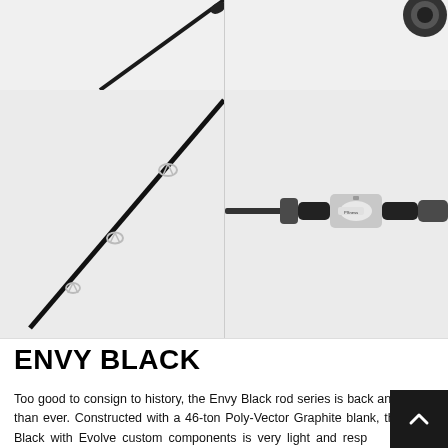[Figure (photo): Top-left panel showing the tip of a black fishing rod against a light gray background, partially cropped]
[Figure (photo): Top-right panel showing the reel seat end of a black fishing rod against a light gray background, partially cropped]
[Figure (photo): Lower-left panel showing a black fishing rod with chrome guides diagonally across a light gray background]
[Figure (photo): Lower-right panel showing close-up of a black and chrome fishing rod handle/reel seat with a label reading 'PSness' against a light gray background]
ENVY BLACK
Too good to consign to history, the Envy Black rod series is back and better than ever. Constructed with a 46-ton Poly-Vector Graphite blank, the Envy Black with Evolve custom components is very light and resp… The Evolve Carbon Divide reel seats helps the angler feel every minute